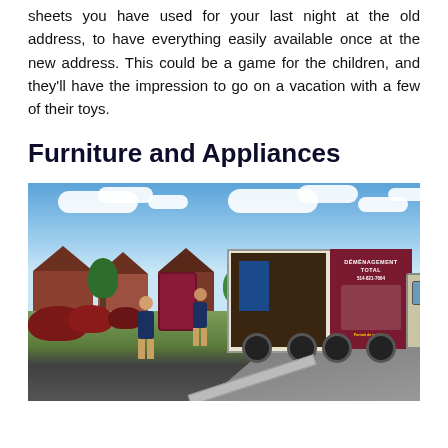sheets you have used for your last night at the old address, to have everything easily available once at the new address. This could be a game for the children, and they'll have the impression to go on a vacation with a few of their toys.
Furniture and Appliances
[Figure (photo): Two movers in dark uniforms loading large furniture (a burgundy/maroon sofa or armchair) onto a moving truck via a metal ramp. The truck has 'DÉMÉNAGEMENT TOTAL 514-821-7664' branding on the side panel with a maroon/dark red color scheme. The scene is set in a suburban neighborhood with brick houses, green trees, and a blue sky with clouds in the background.]